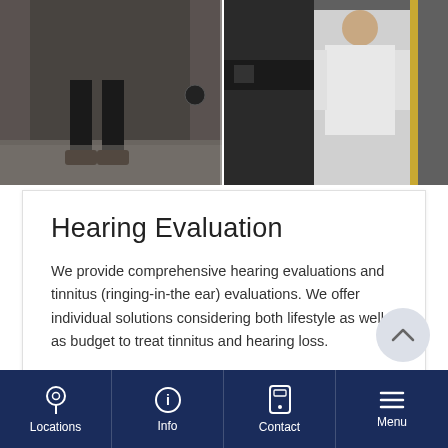[Figure (photo): Two-panel photo showing hearing evaluation booth interior: left panel shows person's legs/feet standing in a dark sound booth, right panel shows clinician in white coat inside or near a booth]
Hearing Evaluation
We provide comprehensive hearing evaluations and tinnitus (ringing-in-the ear) evaluations. We offer individual solutions considering both lifestyle as well as budget to treat tinnitus and hearing loss.
FIND OUT MORE
Locations  Info  Contact  Menu